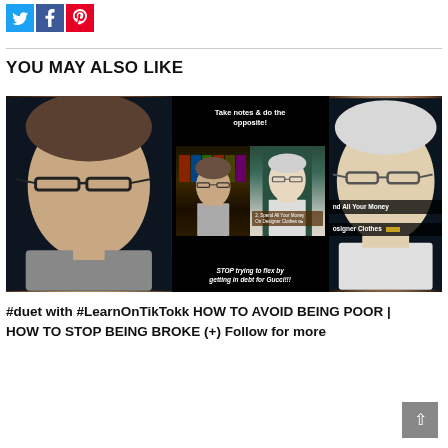[Figure (other): Social media share buttons: Twitter (blue), Facebook (dark blue), Pinterest (red)]
YOU MAY ALSO LIKE
[Figure (screenshot): Video thumbnail showing a TikTok duet. Left panel shows a man with glasses in dark setting. Center panel shows a TikTok video with text 'Take notes & do the opposite!' and 'STOP trying to flex by getting in debt for Gucci!!!' Right panel shows an older man with glasses. Overlay text reads 'nd All Your Money osigner Clothes']
#duet with #LearnOnTikTokk HOW TO AVOID BEING POOR | HOW TO STOP BEING BROKE (+) Follow for more